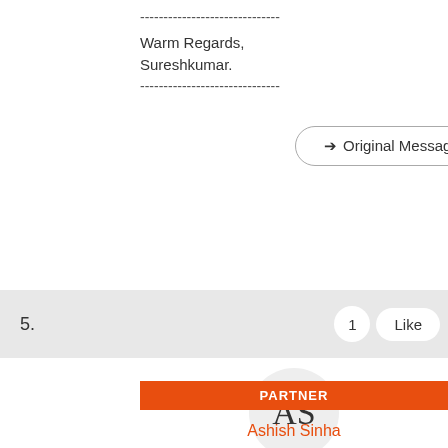------------------------------
Warm Regards,
Sureshkumar.
------------------------------
➤ Original Message
5.
[Figure (other): Avatar circle with initials AS]
PARTNER
Ashish Sinha